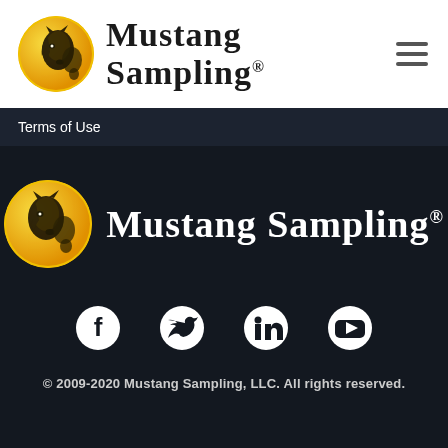[Figure (logo): Mustang Sampling logo in header - yellow circle with horse illustration and bold serif text 'Mustang Sampling®']
Terms of Use
[Figure (logo): Mustang Sampling footer logo - yellow circle with horse illustration and white bold serif text 'Mustang Sampling®' on dark background]
[Figure (infographic): Social media icons row: Facebook, Twitter, LinkedIn, YouTube - white icons on dark background]
© 2009-2020 Mustang Sampling, LLC. All rights reserved.